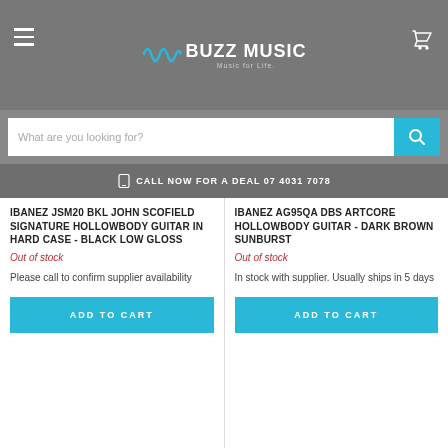Buzz Music - Music for Life
What are you looking for?
CALL NOW FOR A DEAL 07 4031 7078
IBANEZ JSM20 BKL JOHN SCOFIELD SIGNATURE HOLLOWBODY GUITAR IN HARD CASE - BLACK LOW GLOSS
Out of stock
Please call to confirm supplier availability
ADD TO CART
IBANEZ AG95QA DBS ARTCORE HOLLOWBODY GUITAR - DARK BROWN SUNBURST
Out of stock
In stock with supplier. Usually ships in 5 days
ADD TO CART